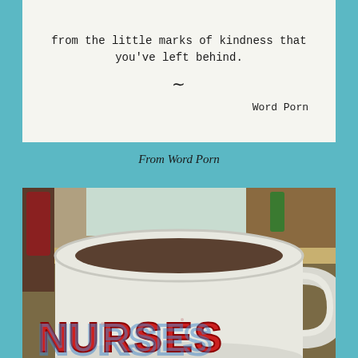[Figure (photo): White card/image with typewriter-font quote text ending with 'from the little marks of kindness that you've left behind.' followed by a tilde symbol and 'Word Porn' credit at bottom right, on a light gray/white background.]
From Word Porn
[Figure (photo): Close-up photograph of a white ceramic coffee mug with 'NURSES' text in large red and blue cartoon/comic style letters on a kitchen counter background.]